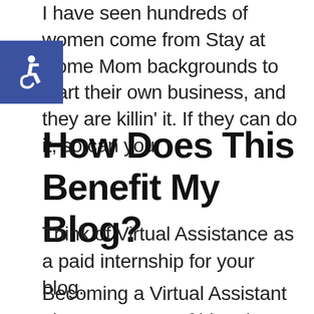I have seen hundreds of women come from Stay at Home Mom backgrounds to start their own business, and they are killin' it. If they can do it, so can you.
How Does This Benefit My Blog?
Think of Virtual Assistance as a paid internship for your blog.
Becoming a Virtual Assistant gives you a ton of blogging skills to use as you grow